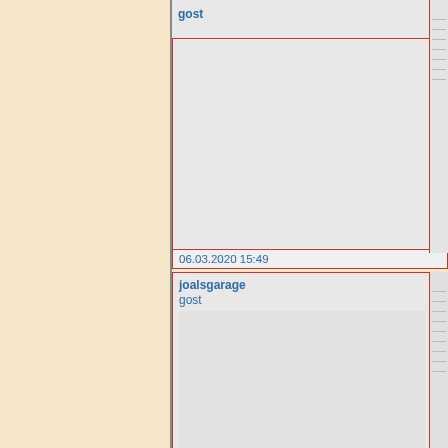gost
06.03.2020 15:49
joalsgarage
gost
07.03.2020 16:03
foremostfsc
gost